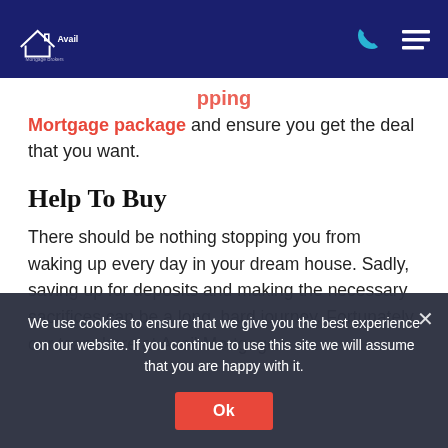[Figure (logo): Avail Mortgage Brokers logo with house outline icon and phone/menu icons in navy header bar]
Mortgage package and ensure you get the deal that you want.
Help To Buy
There should be nothing stopping you from waking up every day in your dream house. Sadly, saving up for deposits and making the necessary sacrifices can be a long, hard journey. Fortunately, our team here at Avail Mortgage
We use cookies to ensure that we give you the best experience on our website. If you continue to use this site we will assume that you are happy with it.